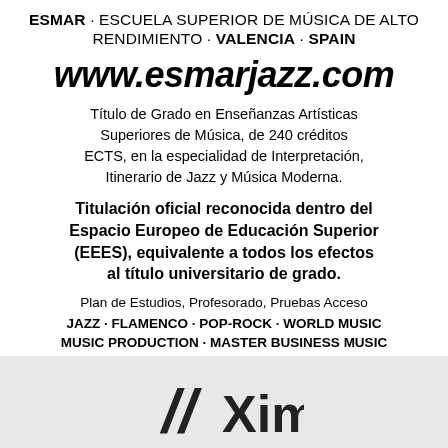ESMAR · ESCUELA SUPERIOR DE MÚSICA DE ALTO RENDIMIENTO · VALENCIA · SPAIN
www.esmarjazz.com
Título de Grado en Enseñanzas Artísticas Superiores de Música, de 240 créditos ECTS, en la especialidad de Interpretación, Itinerario de Jazz y Música Moderna.
Titulación oficial reconocida dentro del Espacio Europeo de Educación Superior (EEES), equivalente a todos los efectos al título universitario de grado.
Plan de Estudios, Profesorado, Pruebas Acceso
JAZZ · FLAMENCO · POP-ROCK · WORLD MUSIC MUSIC PRODUCTION · MASTER BUSINESS MUSIC
[Figure (logo): Ximo logo with double slash marks on grey background]